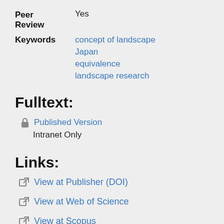Peer Review: Yes
Keywords: concept of landscape, Japan, equivalence, landscape research
Fulltext:
Published Version
Intranet Only
Links:
View at Publisher (DOI)
View at Web of Science
View at Scopus